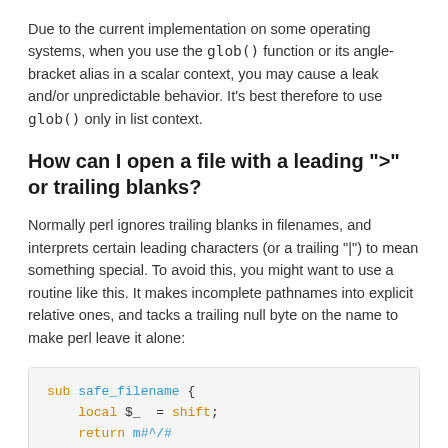Due to the current implementation on some operating systems, when you use the glob() function or its angle-bracket alias in a scalar context, you may cause a leak and/or unpredictable behavior. It's best therefore to use glob() only in list context.
How can I open a file with a leading ">" or trailing blanks?
Normally perl ignores trailing blanks in filenames, and interprets certain leading characters (or a trailing "|") to mean something special. To avoid this, you might want to use a routine like this. It makes incomplete pathnames into explicit relative ones, and tacks a trailing null byte on the name to make perl leave it alone:
[Figure (screenshot): Code block showing Perl subroutine safe_filename with local $_ = shift; return m#^/# ? "$_\0"]